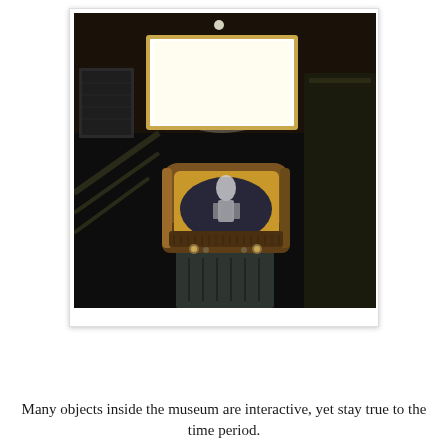[Figure (photo): A vintage wood-cabinet television set displayed on a metal stand in a dark museum setting. The TV has a rounded screen showing a black-and-white image. Above the TV is a bright illuminated white panel/light box. The background shows a dark exhibition hall.]
Many objects inside the museum are interactive, yet stay true to the time period.